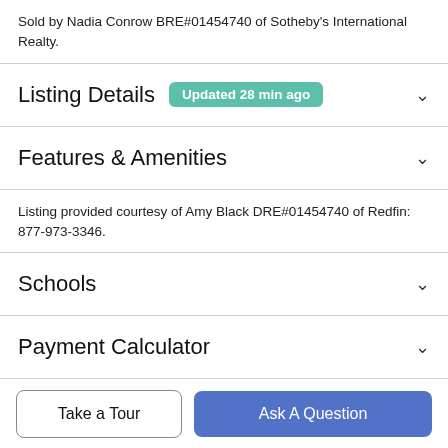Sold by Nadia Conrow BRE#01454740 of Sotheby's International Realty.
Listing Details
Features & Amenities
Listing provided courtesy of Amy Black DRE#01454740 of Redfin: 877-973-3346.
Schools
Payment Calculator
Take a Tour
Ask A Question